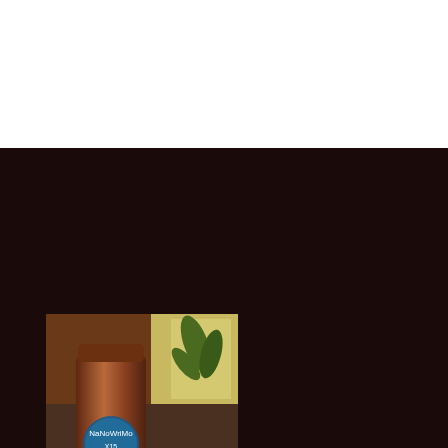[Figure (photo): A photo of a metallic/copper-colored travel tumbler with a NaNoWriMo badge/logo on it, alongside a small black rubber duck with a green leaf, and some colorful pins/badges on a table. A plant and window are visible in the background.]
Whether it's participating in NaNoWriMo, fending off the dead duckie no plot plague, or just